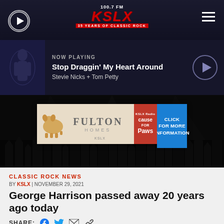100.7 FM KSLX — 35 YEARS OF CLASSIC ROCK
[Figure (screenshot): Now playing bar showing album art thumbnail, NOW PLAYING label, song title 'Stop Draggin' My Heart Around' by Stevie Nicks + Tom Petty, with play button]
[Figure (infographic): Fulton Homes Cause for Paws advertisement banner with dog illustration and blue 'CLICK FOR MORE INFORMATION' button]
[Figure (photo): Concert crowd silhouette background photo in dark monochrome]
CLASSIC ROCK NEWS
BY KSLX | NOVEMBER 29, 2021
George Harrison passed away 20 years ago today
SHARE: